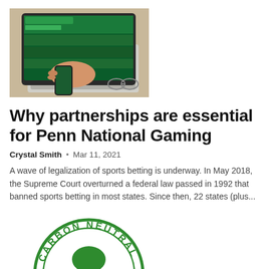[Figure (photo): Person holding a smartphone in front of a laptop showing sports betting website, with glasses on desk]
Why partnerships are essential for Penn National Gaming
Crystal Smith  •  Mar 11, 2021
A wave of legalization of sports betting is underway. In May 2018, the Supreme Court overturned a federal law passed in 1992 that banned sports betting in most states. Since then, 22 states (plus...
[Figure (illustration): Carbon Neutral green stamp/seal logo, partially visible at bottom of page]